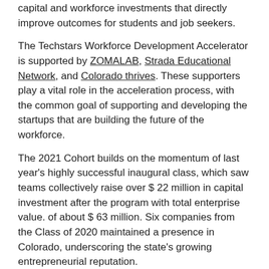capital and workforce investments that directly improve outcomes for students and job seekers.
The Techstars Workforce Development Accelerator is supported by ZOMALAB, Strada Educational Network, and Colorado thrives. These supporters play a vital role in the acceleration process, with the common goal of supporting and developing the startups that are building the future of the workforce.
The 2021 Cohort builds on the momentum of last year's highly successful inaugural class, which saw teams collectively raise over $ 22 million in capital investment after the program with total enterprise value. of about $ 63 million. Six companies from the Class of 2020 maintained a presence in Colorado, underscoring the state's growing entrepreneurial reputation.
Techstars Workforce Development Accelerator welcomes the following organizations as members of the Class of 2021:
Chamba: Helping Latinx Job Seekers Residing in the United States Find Jobs Through Technology.
Clusiv: Creation of the world's first accessible online learning